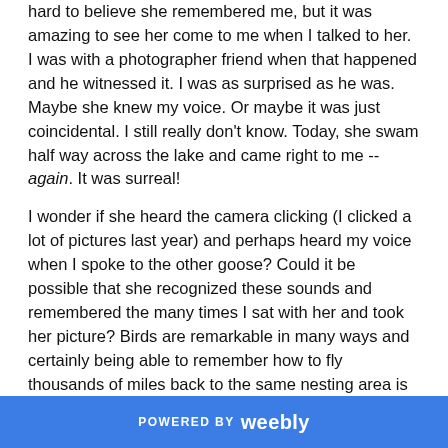hard to believe she remembered me, but it was amazing to see her come to me when I talked to her. I was with a photographer friend when that happened and he witnessed it. I was as surprised as he was. Maybe she knew my voice. Or maybe it was just coincidental. I still really don't know. Today, she swam half way across the lake and came right to me -- again. It was surreal!
I wonder if she heard the camera clicking (I clicked a lot of pictures last year) and perhaps heard my voice when I spoke to the other goose? Could it be possible that she recognized these sounds and remembered the many times I sat with her and took her picture? Birds are remarkable in many ways and certainly being able to remember how to fly thousands of miles back to the same nesting area is at the top of the marveling I do about them.
POWERED BY weebly